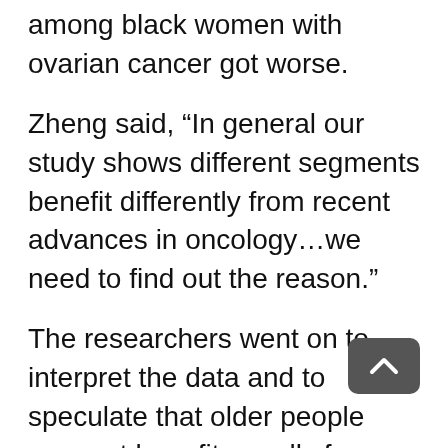among black women with ovarian cancer got worse.
Zheng said, “In general our study shows different segments benefit differently from recent advances in oncology…we need to find out the reason.”
The researchers went on to interpret the data and to speculate that older people may not benefit equally from medical advances because doctors may avoid aggressive care for them for fear they couldn’t tolerate treatments like surgery or chemotherapy.